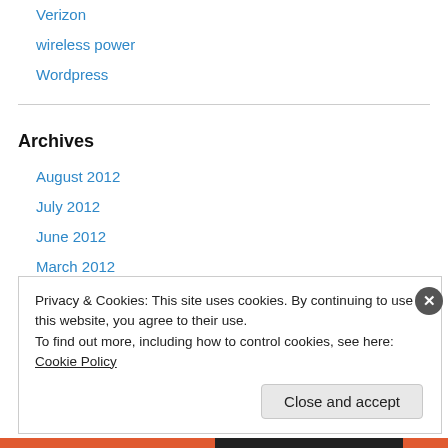Verizon
wireless power
Wordpress
Archives
August 2012
July 2012
June 2012
March 2012
February 2012
January 2012
Privacy & Cookies: This site uses cookies. By continuing to use this website, you agree to their use.
To find out more, including how to control cookies, see here: Cookie Policy
Close and accept